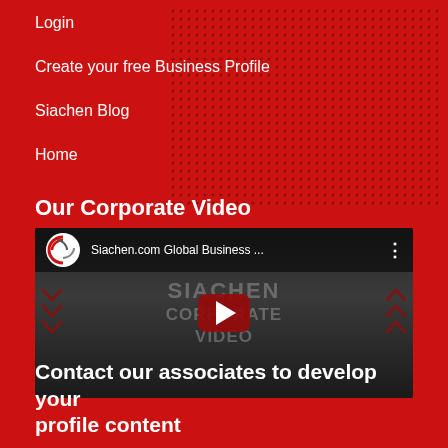Login
Create your free Business Profile
Siachen Blog
Home
Our Corporate Video
[Figure (screenshot): YouTube video thumbnail for 'Siachen.com Global Business ...' showing SIACHEN CORPORATE VIDEO text with play button]
Contact our associates to develop your profile content